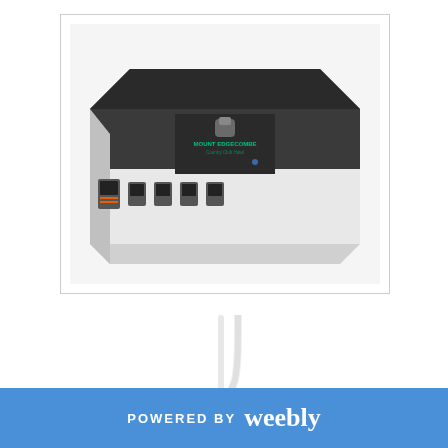[Figure (photo): A multi-port USB charging station/hub with dark top panel featuring a branded logo ('Mount Edgecombe Country Club Hotel') and 5 USB ports on the front in white/silver casing, shown at an angle.]
[Figure (photo): A white 4-port USB hub in a cross/clover shape with chrome accents, connected to a white USB cable that extends upward.]
POWERED BY weebly